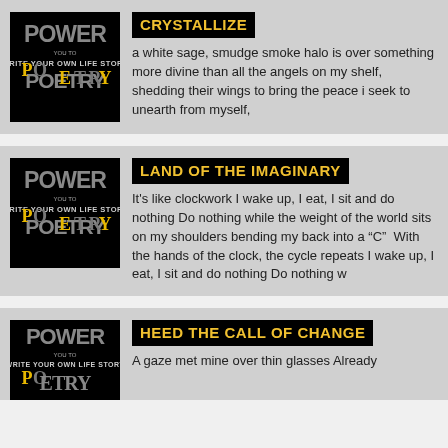[Figure (illustration): Power to Write Your Own Life Story Poetry logo on black background with stylized text]
CRYSTALLIZE
a white sage, smudge smoke halo is over something more divine than all the angels on my shelf, shedding their wings to bring the peace i seek to unearth from myself,
[Figure (illustration): Power to Write Your Own Life Story Poetry logo on black background with stylized text]
LAND OF THE IMAGINARY
It's like clockwork I wake up, I eat, I sit and do nothing Do nothing while the weight of the world sits on my shoulders bending my back into a “C”  With the hands of the clock, the cycle repeats I wake up, I eat, I sit and do nothing Do nothing w
[Figure (illustration): Power to Write Your Own Life Story Poetry logo on black background with stylized text]
HEED THE CALL OF CHANGE
A gaze met mine over thin glasses Already